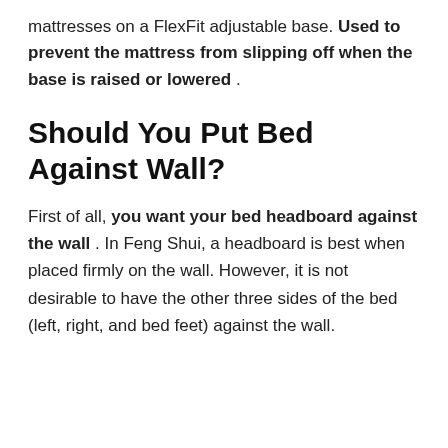mattresses on a FlexFit adjustable base. Used to prevent the mattress from slipping off when the base is raised or lowered .
Should You Put Bed Against Wall?
First of all, you want your bed headboard against the wall . In Feng Shui, a headboard is best when placed firmly on the wall. However, it is not desirable to have the other three sides of the bed (left, right, and bed feet) against the wall.